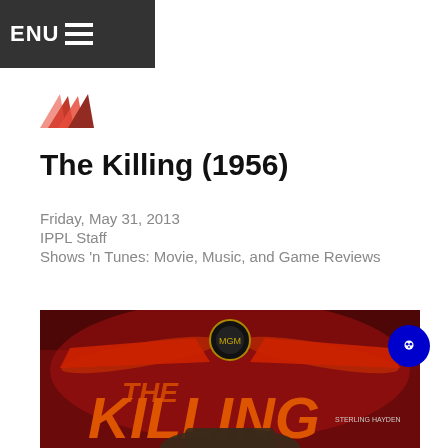MENU
[Figure (logo): Red book/pages logo icon for IPPL website]
The Killing (1956)
Friday, May 31, 2013
IPPL Staff
Shows 'n Tunes: Movie, Music, and Game Reviews
[Figure (photo): Movie poster for The Killing (1956) showing 'THE KILLING' text in large orange letters on a dark red background with MGM logo and a hat silhouette at bottom]